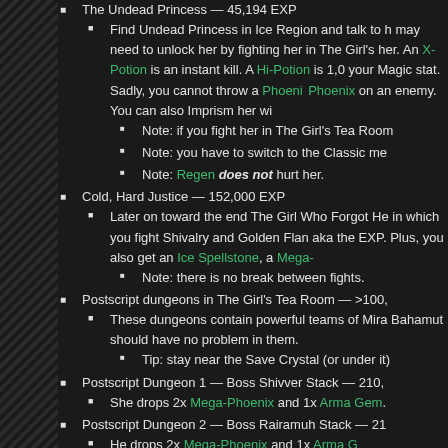The Undead Princess — 45,194 EXP
Find Undead Princess in Ice Region and talk to her. You may need to unlock her by fighting her in The Girl's [Tea Room]. An X-Potion is an instant kill. A Hi-Potion is 1,0[00 x] your Magic stat. Sadly, you cannot throw a Phoenix [Down /] Phoenix on an enemy. You can also Imprism her wi[th ...]
Note: if you fight her in The Girl's Tea Room
Note: you have to switch to the Classic men[u]
Note: Regen does not hurt her.
Cold, Hard Justice — 152,000 EXP
Later on toward the end The Girl Who Forgot He[r ...] in which you fight Shivalry and Golden Flan aka the[...] EXP. Plus, you also get an Ice Spellstone, a Mega-[Phoenix]
Note: there is no break between fights.
Postscript dungeons in The Girl's Tea Room — >100,[...]
These dungeons contain powerful teams of Mira[...] Bahamut should have no problem in them.
Tip: stay near the Save Crystal (or under it)
Postscript Dungeon 1 — Boss Shivver Stack — 210,[...]
She drops 2x Mega-Phoenix and 1x Arma Gem[.]
Postscript Dungeon 2 — Boss Rairamuh Stack — 21[...]
He drops 2x Mega-Phoenix and 1x Arma Gem[...]